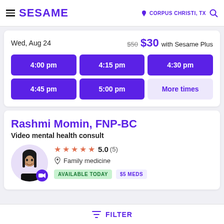SESAME | CORPUS CHRISTI, TX
Wed, Aug 24   $50  $30 with Sesame Plus
4:00 pm | 4:15 pm | 4:30 pm | 4:45 pm | 5:00 pm | More times
Rashmi Momin, FNP-BC
Video mental health consult
★★★★★ 5.0 (5)  Family medicine  AVAILABLE TODAY  $5 MEDS
FILTER